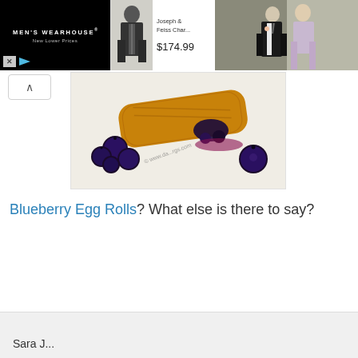[Figure (screenshot): Men's Wearhouse advertisement banner. Left section: black background with 'MEN'S WEARHOUSE® New Lower Prices' text. Middle section: white background with image of man in suit, 'Joseph & Feiss Char...' product name and '$174.99' price. Right section: photo of couple in formal wear.]
[Figure (photo): Food photo showing blueberry egg rolls — a pastry filled with blueberries, surrounded by fresh blueberries on a white plate. Watermark visible on image.]
Blueberry Egg Rolls? What else is there to say?
Sara J...